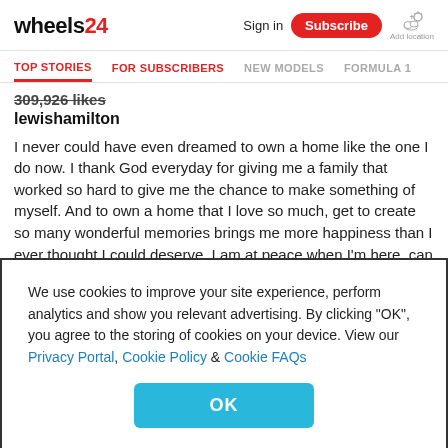wheels24 | Sign in | Subscribe | Add location
TOP STORIES | FOR SUBSCRIBERS | NEW MODELS | FORMULA 1
309,926 likes
lewishamilton
I never could have even dreamed to own a home like the one I do now. I thank God everyday for giving me a family that worked so hard to give me the chance to make something of myself. And to own a home that I love so much, get to create so many wonderful memories brings me more happiness than I ever thought I could deserve. I am at peace when I'm here, can focus and build my mind and body so that I can come back
We use cookies to improve your site experience, perform analytics and show you relevant advertising. By clicking "OK", you agree to the storing of cookies on your device. View our Privacy Portal, Cookie Policy & Cookie FAQs
OK